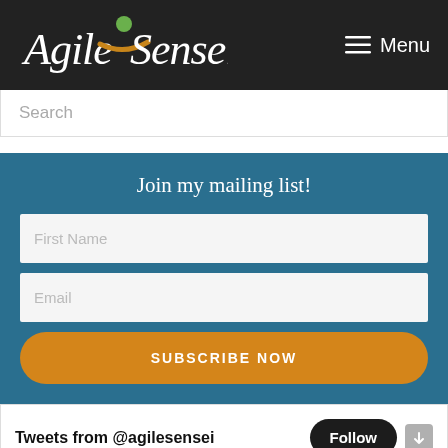Agile Sensei — Menu
Search
Join my mailing list!
First Name
Email
SUBSCRIBE NOW
Tweets from @agilesensei
Follow